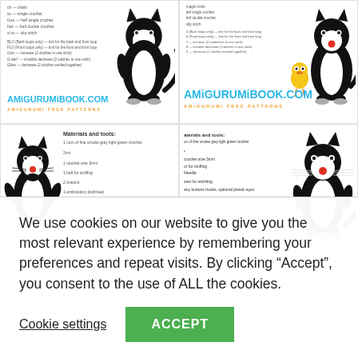[Figure (screenshot): Screenshot of amigurumibook.com website showing crochet cat patterns (Sylvester the cat amigurumi) across 4 page panels, with logos and free pattern text visible, partially obscured by cookie consent overlay]
We use cookies on our website to give you the most relevant experience by remembering your preferences and repeat visits. By clicking “Accept”, you consent to the use of ALL the cookies.
Cookie settings
ACCEPT